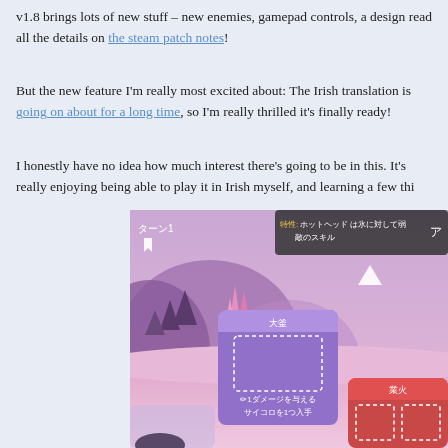v1.8 brings lots of new stuff – new enemies, gamepad controls, a design… read all the details on the steam patch notes!
But the new feature I'm really most excited about: The Irish translation is… going on about for a long time, so I'm really thrilled it's finally ready!
I honestly have no idea how much interest there's going to be in this. It's… really enjoying being able to play it in Irish myself, and learning a few thi…
[Figure (screenshot): A screenshot of a Japanese-localized version of a turn-based strategy game. The background shows a pink/purple stylized forest landscape. UI elements include: top bar showing '特性: ホットヘッド は氷に対して弱い' and '敵のスキル' with an up arrow. Left side shows 'ターン1' with a white flag. Center shows a purple card labeled '大釜' with a dotted rectangle and text '1ダメージを与える サイコロを1つ入手'. Bottom right shows a red card labeled '業火' with dotted rectangles.]